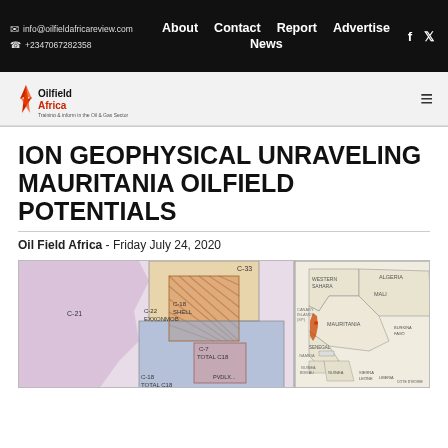info@oilfieldafricareview.com  +2347067282358  About  Contact  Report News  Advertise  f  t
[Figure (logo): Oilfield Africa logo with red flame/drill icon and text 'Oilfield Africa']
ION GEOPHYSICAL UNRAVELING MAURITANIA OILFIELD POTENTIALS
Oil Field Africa - Friday July 24, 2020
[Figure (map): Map of Mauritania offshore blocks showing C-21, C-22 EXXONMOB, C-18 SHELL, C-33, C-19 TOTAL C18, C-7 TOTAL C18, and an inset regional map showing location within West Africa highlighting Mauritania coastline in orange/red. Countries labeled include Western Sahara, Mali, Mauritania, Senegal, Gambia, Guinea Bissau, Guinea, Sierra Leone, Liberia, Cote d'Ivoire, Algeria, Burkina Faso.]